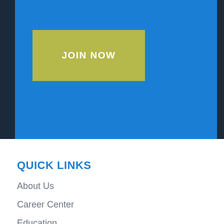[Figure (other): Blue banner with dark side bars and a gold/olive colored JOIN NOW button]
QUICK LINKS
About Us
Career Center
Education
Events
News